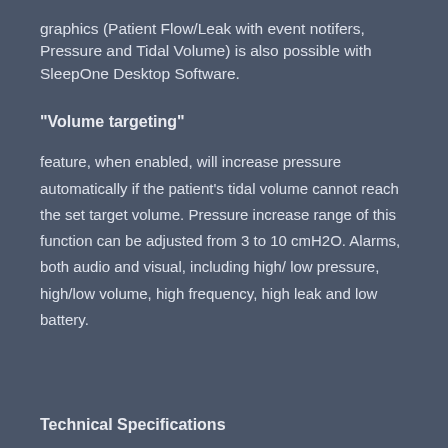graphics (Patient Flow/Leak with event notifers, Pressure and Tidal Volume) is also possible with SleepOne Desktop Software.
“Volume targeting”
feature, when enabled, will increase pressure automatically if the patient’s tidal volume cannot reach the set target volume. Pressure increase range of this function can be adjusted from 3 to 10 cmH2O. Alarms, both audio and visual, including high/low pressure, high/low volume, high frequency, high leak and low battery.
Technical Specifications